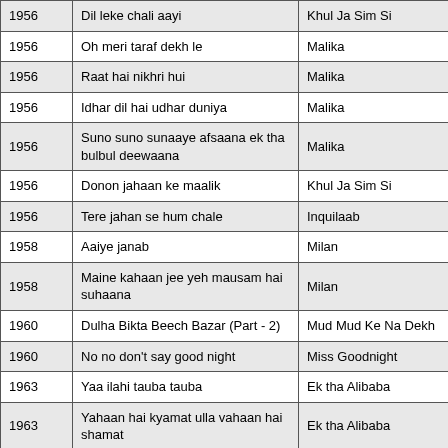| Year | Song | Film |
| --- | --- | --- |
| 1956 | Dil leke chali aayi | Khul Ja Sim Si |
| 1956 | Oh meri taraf dekh le | Malika |
| 1956 | Raat hai nikhri hui | Malika |
| 1956 | Idhar dil hai udhar duniya | Malika |
| 1956 | Suno suno sunaaye afsaana ek tha bulbul deewaana | Malika |
| 1956 | Donon jahaan ke maalik | Khul Ja Sim Si |
| 1956 | Tere jahan se hum chale | Inquilaab |
| 1958 | Aaiye janab | Milan |
| 1958 | Maine kahaan jee yeh mausam hai suhaana | Milan |
| 1960 | Dulha Bikta Beech Bazar (Part - 2) | Mud Mud Ke Na Dekh |
| 1960 | No no don't say good night | Miss Goodnight |
| 1963 | Yaa ilahi tauba tauba | Ek tha Alibaba |
| 1963 | Yahaan hai kyamat ulla vahaan hai shamat | Ek tha Alibaba |